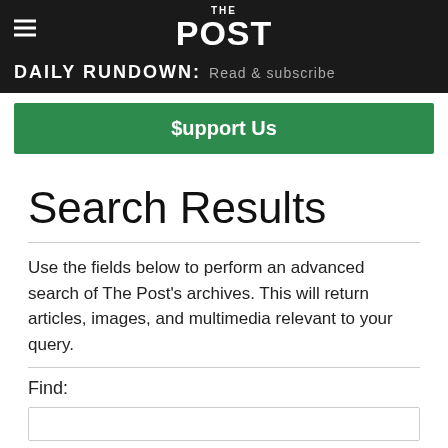THE POST
DAILY RUNDOWN: Read & subscribe
$upport Us
Search Results
Use the fields below to perform an advanced search of The Post's archives. This will return articles, images, and multimedia relevant to your query.
Find: